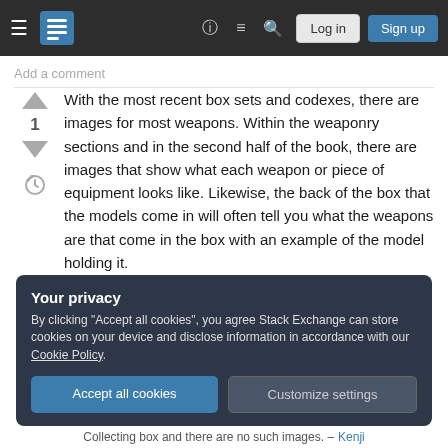Stack Exchange navigation bar with Log in and Sign up buttons
Add a comment
With the most recent box sets and codexes, there are images for most weapons. Within the weaponry sections and in the second half of the book, there are images that show what each weapon or piece of equipment looks like. Likewise, the back of the box that the models come in will often tell you what the weapons are that come in the box with an example of the model holding it.
Your privacy
By clicking "Accept all cookies", you agree Stack Exchange can store cookies on your device and disclose information in accordance with our Cookie Policy.
Accept all cookies   Customize settings
Collecting box and there are no such images. – Kenji